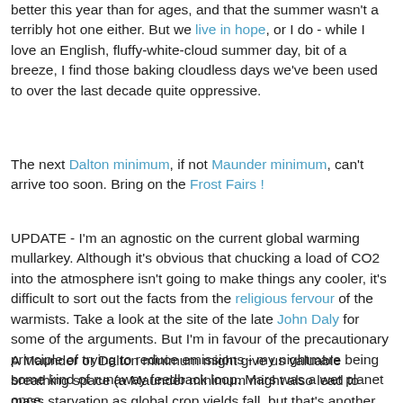better this year than for ages, and that the summer wasn't a terribly hot one either. But we live in hope, or I do - while I love an English, fluffy-white-cloud summer day, bit of a breeze, I find those baking cloudless days we've been used to over the last decade quite oppressive.
The next Dalton minimum, if not Maunder minimum, can't arrive too soon. Bring on the Frost Fairs !
UPDATE - I'm an agnostic on the current global warming mullarkey. Although it's obvious that chucking a load of CO2 into the atmosphere isn't going to make things any cooler, it's difficult to sort out the facts from the religious fervour of the warmists. Take a look at the site of the late John Daly for some of the arguments. But I'm in favour of the precautionary principle of trying to reduce emissions - my nightmare being some kind of runaway feedback loop. Mars was a wet planet once.
A Maunder or Dalton minimum might give us valuable breathing space (a Maunder minimum might also lead to mass starvation as global crop yields fall, but that's another